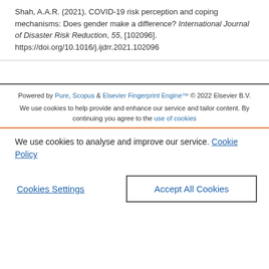Shah, A.A.R. (2021). COVID-19 risk perception and coping mechanisms: Does gender make a difference? International Journal of Disaster Risk Reduction, 55, [102096]. https://doi.org/10.1016/j.ijdrr.2021.102096
Powered by Pure, Scopus & Elsevier Fingerprint Engine™ © 2022 Elsevier B.V.
We use cookies to help provide and enhance our service and tailor content. By continuing you agree to the use of cookies
We use cookies to analyse and improve our service. Cookie Policy
Cookies Settings   Accept All Cookies